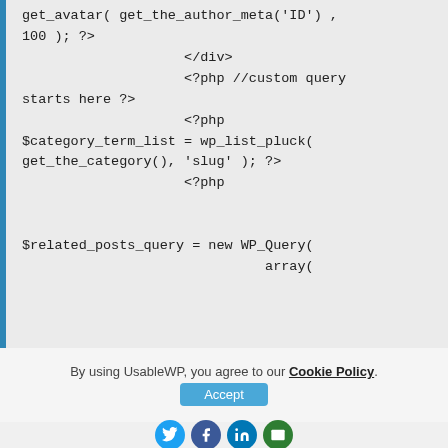[Figure (screenshot): PHP code block showing get_avatar, </div>, custom query PHP snippet with $category_term_list and $related_posts_query variables on a light grey background with blue left border]
By using UsableWP, you agree to our Cookie Policy.
[Figure (infographic): Social sharing icons: Twitter (blue circle), Facebook (dark blue circle), LinkedIn (blue circle), Email (green circle)]